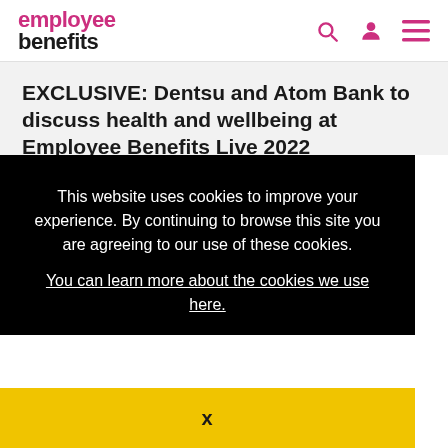employee benefits
EXCLUSIVE: Dentsu and Atom Bank to discuss health and wellbeing at Employee Benefits Live 2022
23rd August 2022
This website uses cookies to improve your experience. By continuing to browse this site you are agreeing to our use of these cookies.
You can learn more about the cookies we use here.
X